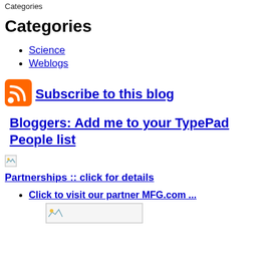Categories
Categories
Science
Weblogs
[Figure (logo): RSS feed icon (orange square with white radio waves)]
Subscribe to this blog
Bloggers: Add me to your TypePad People list
[Figure (photo): Small broken/missing image icon]
Partnerships :: click for details
Click to visit our partner MFG.com ...
[Figure (photo): Small broken/missing image inside MFG.com partner box]